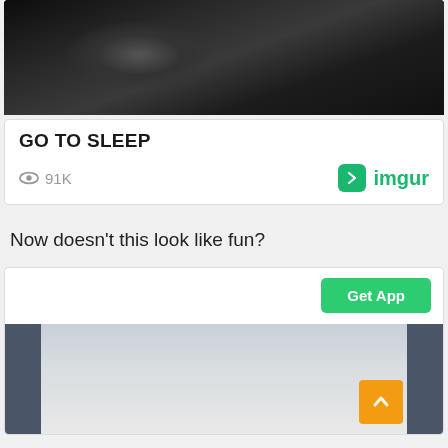[Figure (photo): Black and white close-up photo of a person sleeping]
GO TO SLEEP
91K views, imgur logo
Now doesn't this look like fun?
[Figure (screenshot): Imgur app card with Get App button and outdoor photo showing people on a structure]